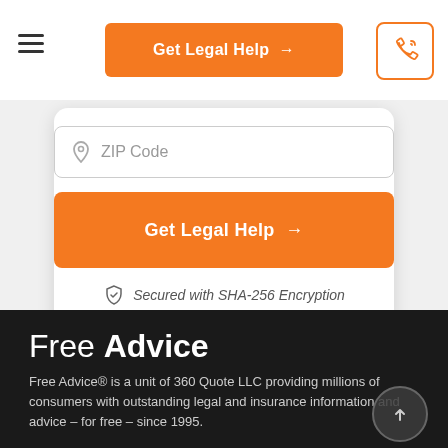[Figure (other): Hamburger menu icon (three horizontal lines) in top left navigation bar]
Get Legal Help →
[Figure (other): Phone/call icon button in orange outline box in top right navigation bar]
[Figure (other): ZIP Code input field with location pin icon]
Get Legal Help →
Secured with SHA-256 Encryption
Free Advice
Free Advice® is a unit of 360 Quote LLC providing millions of consumers with outstanding legal and insurance information and advice – for free – since 1995.